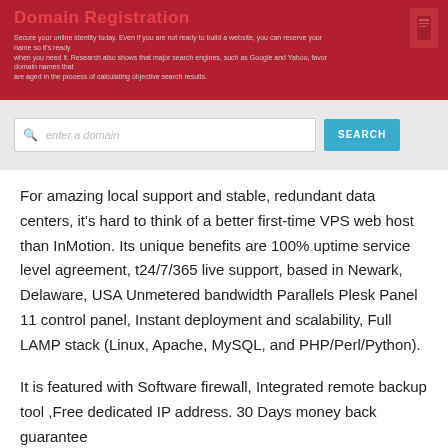Domain Registration
Secure your online identity today. Even if you are not ready to build a website, you can reserve your name so it's ready when you need it. Research also shows that major search engines, such as Google and Yahoo, favor domain names that are aged in the process of calculating objective search results.
[Figure (screenshot): Domain search bar with text field 'enter a domain' and blue SEARCH button on a light grey background]
For amazing local support and stable, redundant data centers, it's hard to think of a better first-time VPS web host than InMotion. Its unique benefits are 100% uptime service level agreement, t24/7/365 live support, based in Newark, Delaware, USA Unmetered bandwidth Parallels Plesk Panel 11 control panel, Instant deployment and scalability, Full LAMP stack (Linux, Apache, MySQL, and PHP/Perl/Python).
It is featured with Software firewall, Integrated remote backup tool ,Free dedicated IP address. 30 Days money back guarantee